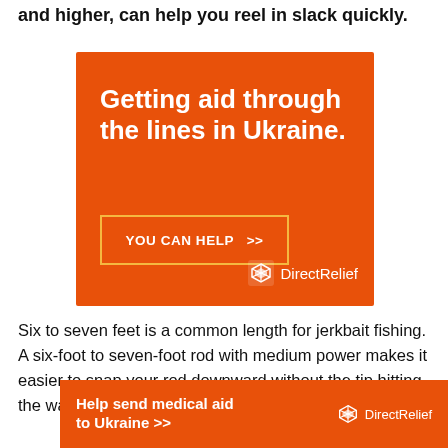and higher, can help you reel in slack quickly.
[Figure (infographic): Orange advertisement for Direct Relief Ukraine aid. Headline: 'Getting aid through the lines in Ukraine.' Button: 'YOU CAN HELP >>'. Direct Relief logo at bottom right.]
Six to seven feet is a common length for jerkbait fishing. A six-foot to seven-foot rod with medium power makes it easier to snap your rod downward without the tip hitting the water.
[Figure (infographic): Orange bottom banner: 'Help send medical aid to Ukraine >>' with Direct Relief logo.]